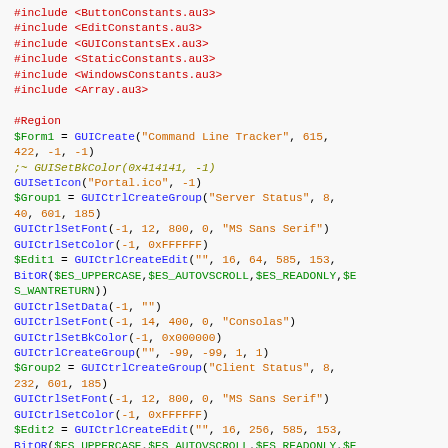[Figure (screenshot): Source code screenshot showing AutoIt3 GUI creation script with syntax highlighting. Red text for #include statements, blue for function names, orange for string literals and numeric arguments, green for variable names prefixed with $, and dark yellow/olive for a commented-out line.]